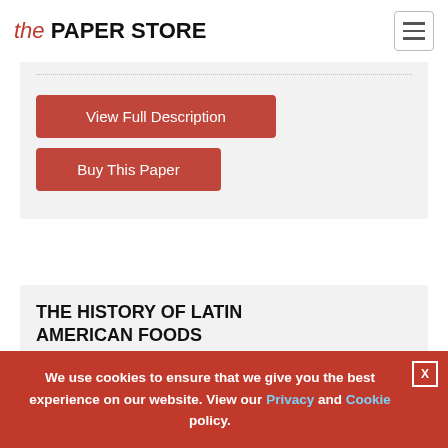the PAPER STORE
View Full Description
Buy This Paper
THE HISTORY OF LATIN AMERICAN FOODS
15 page paper
This 15 page paper traces the history of Latin American cuisine from precontact to
We use cookies to ensure that we give you the best experience on our website. View our Privacy and Cookie policy.